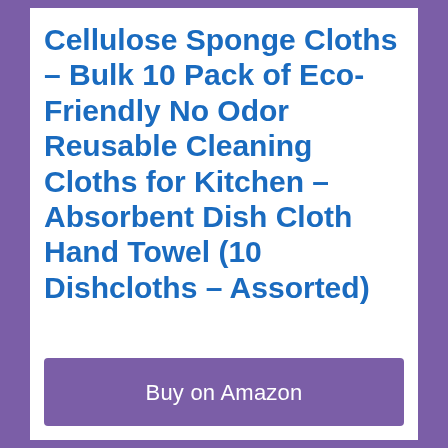Cellulose Sponge Cloths – Bulk 10 Pack of Eco-Friendly No Odor Reusable Cleaning Cloths for Kitchen – Absorbent Dish Cloth Hand Towel (10 Dishcloths – Assorted)
Buy on Amazon